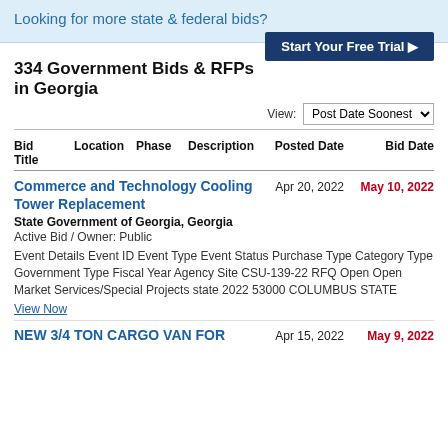Looking for more state & federal bids?
Start Your Free Trial ▶
334 Government Bids & RFPs in Georgia
View: Post Date Soonest
| Bid Title | Location | Phase | Description | Posted Date | Bid Date |
| --- | --- | --- | --- | --- | --- |
Commerce and Technology Cooling Tower Replacement
Apr 20, 2022
May 10, 2022
State Government of Georgia, Georgia
Active Bid / Owner: Public
Event Details Event ID Event Type Event Status Purchase Type Category Type Government Type Fiscal Year Agency Site CSU-139-22 RFQ Open Open Market Services/Special Projects state 2022 53000 COLUMBUS STATE
View Now
NEW 3/4 TON CARGO VAN FOR
Apr 15, 2022
May 9, 2022